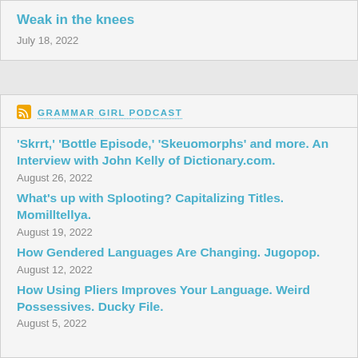Weak in the knees
July 18, 2022
GRAMMAR GIRL PODCAST
'Skrrt,' 'Bottle Episode,' 'Skeuomorphs' and more. An Interview with John Kelly of Dictionary.com.
August 26, 2022
What's up with Splooting? Capitalizing Titles. Momilltellya.
August 19, 2022
How Gendered Languages Are Changing. Jugopop.
August 12, 2022
How Using Pliers Improves Your Language. Weird Possessives. Ducky File.
August 5, 2022